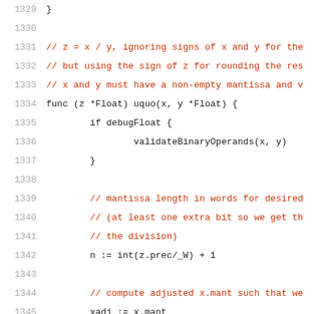1329  }
1330
1331  // z = x / y, ignoring signs of x and y for the
1332  // but using the sign of z for rounding the res
1333  // x and y must have a non-empty mantissa and v
1334  func (z *Float) uquo(x, y *Float) {
1335          if debugFloat {
1336                  validateBinaryOperands(x, y)
1337          }
1338
1339          // mantissa length in words for desired
1340          // (at least one extra bit so we get th
1341          // the division)
1342          n := int(z.prec/_W) + 1
1343
1344          // compute adjusted x.mant such that we
1345          xadj := x.mant
1346          if d := n - len(x.mant) + len(y.mant);
1347                  // d extra words needed => add
1348                  xadj = make(nat, len(x.mant)+d)
1349                  copy(xadj[d:], x.mant)
1350      }